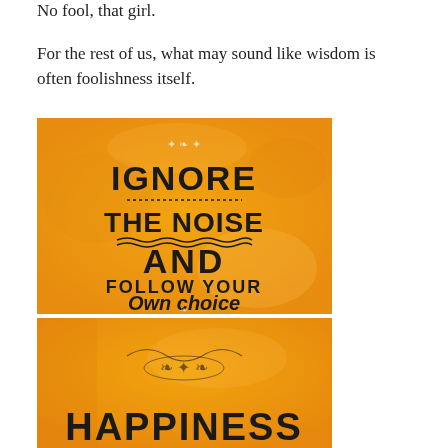No fool, that girl.
For the rest of us, what may sound like wisdom is often foolishness itself.
[Figure (illustration): Orange watercolor background motivational poster with text: IGNORE THE NOISE AND FOLLOW YOUR Own choice]
[Figure (illustration): Orange watercolor background motivational poster, partially visible, showing decorative elements and beginning of text HAPPINESS]